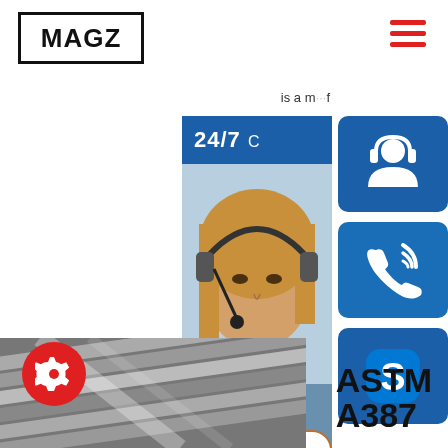MAGZ
[Figure (screenshot): Hamburger menu icon (three red horizontal bars) in top-right corner]
is a must of
[Figure (infographic): Customer service panel: blue 24/7 banner, photo of woman with headset, blue sidebar with customer support icon, phone/call icon, Skype icon, 'online live' button, 'More' button, PROVIDE heading, Empowering Customers subtitle]
24/7
PROVIDE
Empowering Cus
online live
More
[Figure (photo): Steel plates/sheets stacked, industrial setting, bottom-left of page]
ASTM A387